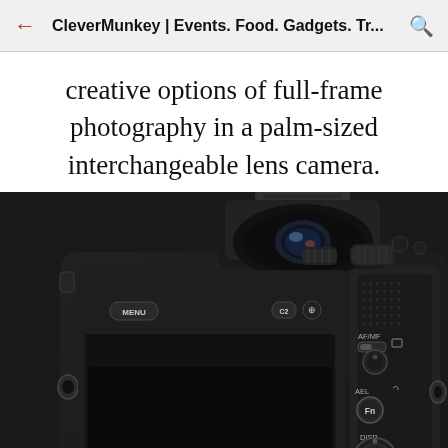CleverMunkey | Events. Food. Gadgets. Tr...
creative options of full-frame photography in a palm-sized interchangeable lens camera.
[Figure (photo): Rear view of a Sony full-frame mirrorless camera body showing the electronic viewfinder, MENU button, C2 button, AF/MF toggle, AEL button, Fn button, DISP label, WB button, C3 button, navigation wheel, and large LCD screen on the back panel. The camera is black with textured grip on the right side.]